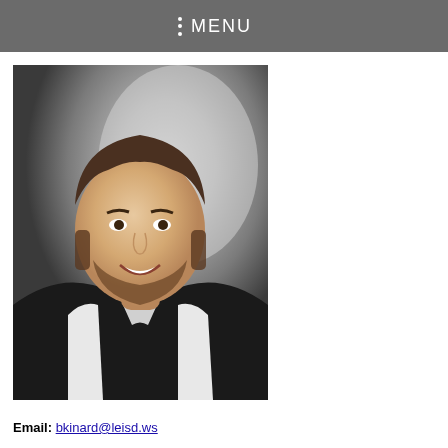MENU
[Figure (photo): Professional headshot of a young man with brown hair and beard, wearing a black and white athletic jacket, smiling, against a gray background.]
Email: bkinard@leisd.ws